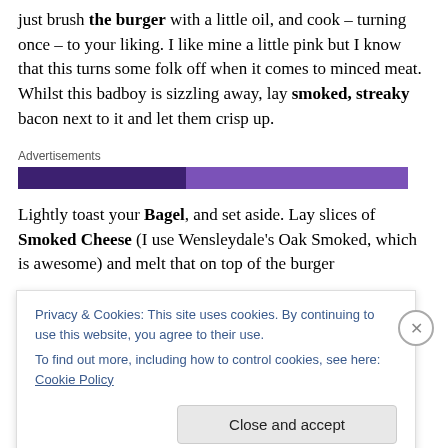just brush the burger with a little oil, and cook – turning once – to your liking. I like mine a little pink but I know that this turns some folk off when it comes to minced meat. Whilst this badboy is sizzling away, lay smoked, streaky bacon next to it and let them crisp up.
[Figure (other): Advertisements banner with two-tone purple horizontal bar]
Lightly toast your Bagel, and set aside. Lay slices of Smoked Cheese (I use Wensleydale's Oak Smoked, which is awesome) and melt that on top of the burger
Privacy & Cookies: This site uses cookies. By continuing to use this website, you agree to their use.
To find out more, including how to control cookies, see here: Cookie Policy